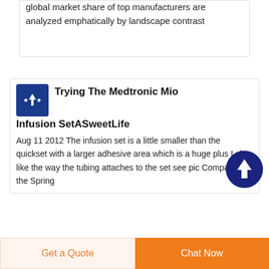global market share of top manufacturers are analyzed emphatically by landscape contrast
Trying The Medtronic Mio Infusion SetASweetLife
Aug 11 2012  The infusion set is a little smaller than the quickset with a larger adhesive area which is a huge plus I also like the way the tubing attaches to the set see pic Compared to the Spring
Get a Quote
Chat Now